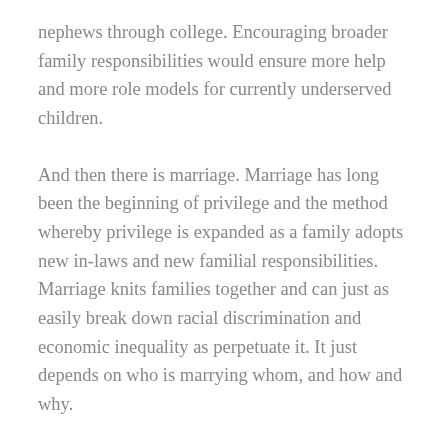nephews through college. Encouraging broader family responsibilities would ensure more help and more role models for currently underserved children.
And then there is marriage. Marriage has long been the beginning of privilege and the method whereby privilege is expanded as a family adopts new in-laws and new familial responsibilities. Marriage knits families together and can just as easily break down racial discrimination and economic inequality as perpetuate it. It just depends on who is marrying whom, and how and why.
I am not suggesting that the government should get tangled too much in the nitty-gritty of families. But why not use more of our resources towards promoting successful families. Why not focus on promoting healthy family habits like offering tax breaks for businesses that